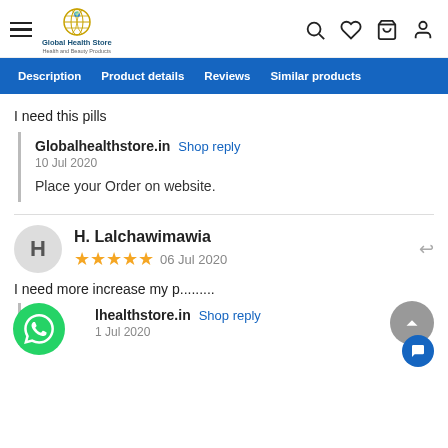Global Health Store — Health and Beauty Products
Description  Product details  Reviews  Similar products
I need this pills
Globalhealthstore.in  Shop reply
10 Jul 2020
Place your Order on website.
H. Lalchawimawia
★★★★★  06 Jul 2020
I need more increase my p..........
lhealthstore.in  Shop reply
1 Jul 2020